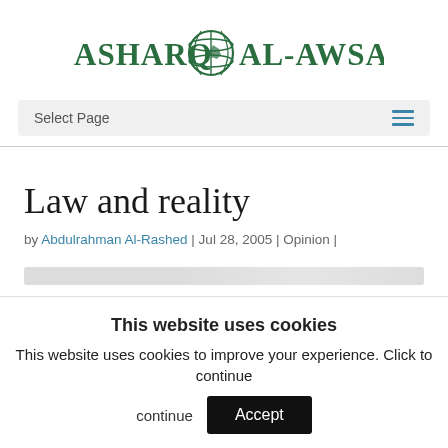[Figure (logo): Asharq Al-Awsat newspaper logo with globe icon in green]
Select Page
Law and reality
by Abdulrahman Al-Rashed | Jul 28, 2005 | Opinion |
This website uses cookies
This website uses cookies to improve your experience. Click to continue
Accept